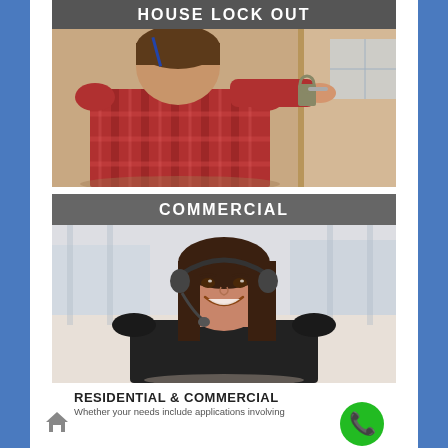[Figure (photo): Person working on a door lock — locksmith picking or installing a door lock. Blue/grey header bar above the photo reading HOUSE LOCK OUT.]
[Figure (photo): Smiling woman with a telephone headset — customer service representative for a commercial locksmith service. Grey header bar above the photo reading COMMERCIAL.]
RESIDENTIAL & COMMERCIAL
Whether your needs include applications involving